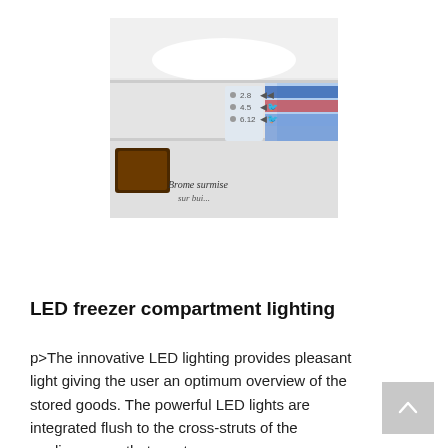[Figure (photo): Photo of the interior of a freezer compartment showing LED lighting at the top, shelves with food items including chocolate, and a product label panel on the right side with icons and a brand script logo at the bottom.]
LED freezer compartment lighting
p>The innovative LED lighting provides pleasant light giving the user an optimum overview of the stored goods. The powerful LED lights are integrated flush to the cross-struts of the appliances so that no storage